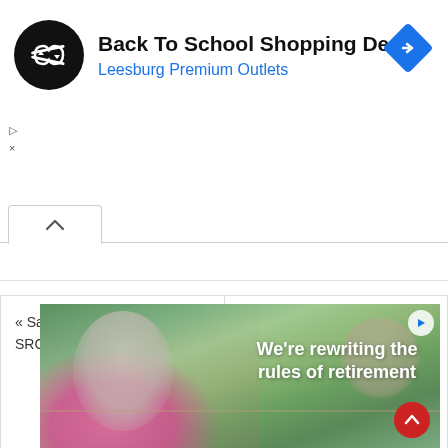[Figure (screenshot): Advertisement banner: Back To School Shopping Deals at Leesburg Premium Outlets, with a circular black logo with double-arrow symbol and a blue diamond direction icon on the right]
▷
×
[Figure (screenshot): Navigation collapse bar with upward caret button]
« Samini wins 2022 GIMPA SRC elections
I've Had Beefs With Almost Everybody In Ghana – Kuami Eugene »
[Figure (photo): Advertisement image showing elderly woman in pink top with pearl necklace and glasses writing at a table outdoors, with text overlay: We're rewriting the rules of retirement]